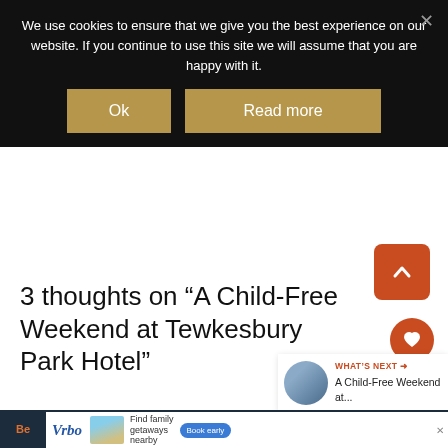We use cookies to ensure that we give you the best experience on our website. If you continue to use this site we will assume that you are happy with it.
Ok
Read more
3 thoughts on “A Child-Free Weekend at Tewkesbury Park Hotel”
WHAT'S NEXT → A Child-Free Weekend at...
[Figure (screenshot): Bottom advertisement banner showing Vrbo logo with beach house image and 'Find family getaways nearby' text with 'Book early' button]